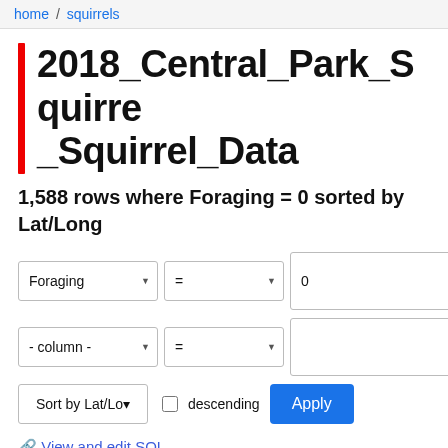home / squirrels
2018_Central_Park_Squirre_Squirrel_Data
1,588 rows where Foraging = 0 sorted by Lat/Long
View and edit SQL
This data as json, CSV (advanced)